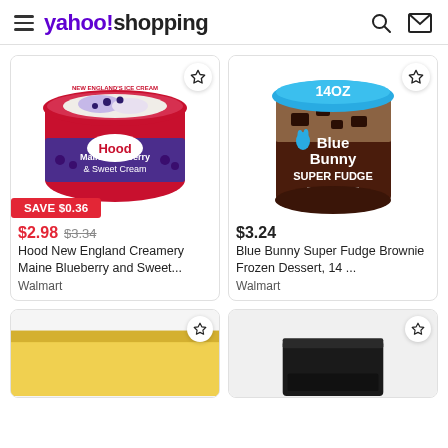yahoo!shopping
[Figure (photo): Hood New England Creamery Maine Blueberry and Sweet Cream ice cream tub with red lid and a SAVE $0.36 badge]
$2.98  $3.34
Hood New England Creamery Maine Blueberry and Sweet...
Walmart
[Figure (photo): Blue Bunny Super Fudge Brownie Frozen Dessert 14oz tub with blue lid]
$3.24
Blue Bunny Super Fudge Brownie Frozen Dessert, 14 ...
Walmart
[Figure (photo): Partial view of a yellow product at bottom left]
[Figure (photo): Partial view of a dark product at bottom right]